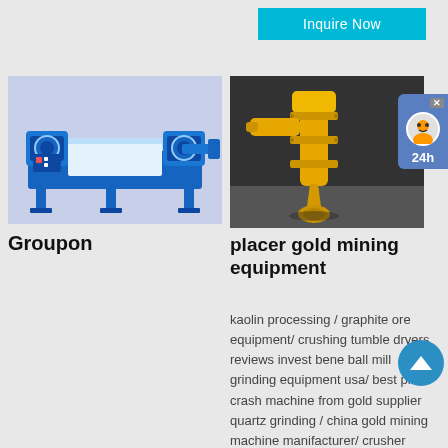[Figure (other): Cyan/teal 'Inquire Now' button at top right]
[Figure (photo): Blue industrial grinding/milling machine on light purple background]
Groupon
[Figure (photo): Yellow vertical submersible pump/mining equipment on dark background]
placer gold mining equipment
kaolin processing / graphite ore equipment/ crushing tumble dryers reviews invest bene ball mill grinding equipment usa/ best price crash machine from gold supplier quartz grinding / china gold mining machine manifacturer/ crusher operators temporary/ list of mining in kenya directory/ gold processing machines ghana graphite